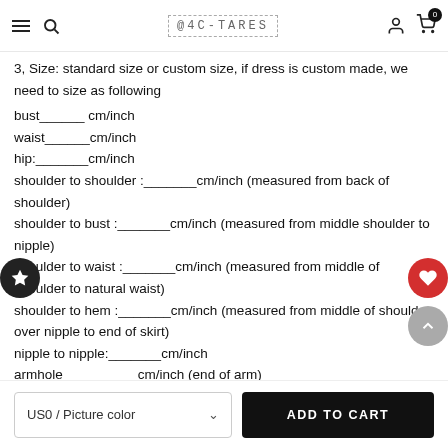☰ 🔍 @4CTARES 👤 🛒 0
3, Size: standard size or custom size, if dress is custom made, we need to size as following
bust______ cm/inch
waist______cm/inch
hip:_______cm/inch
shoulder to shoulder :_______cm/inch (measured from back of shoulder)
shoulder to bust :_______cm/inch (measured from middle shoulder to nipple)
shoulder to waist :_______cm/inch (measured from middle of shoulder to natural waist)
shoulder to hem :_______cm/inch (measured from middle of shoulder over nipple to end of skirt)
nipple to nipple:_______cm/inch
armhole__________cm/inch (end of arm)
US0 / Picture color
ADD TO CART